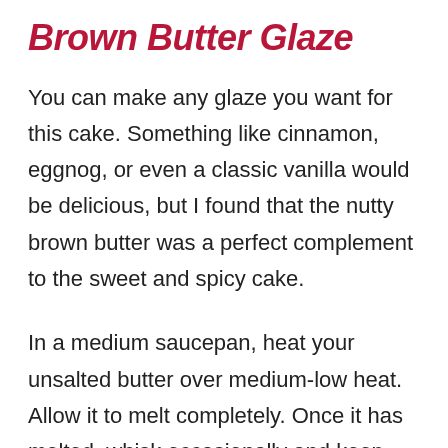Brown Butter Glaze
You can make any glaze you want for this cake. Something like cinnamon, eggnog, or even a classic vanilla would be delicious, but I found that the nutty brown butter was a perfect complement to the sweet and spicy cake.
In a medium saucepan, heat your unsalted butter over medium-low heat. Allow it to melt completely. Once it has melted, whisk occasionally and keep cooking until brown